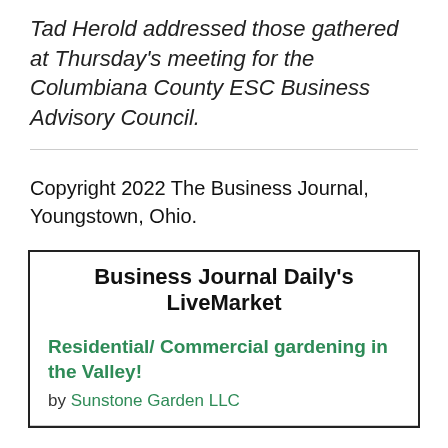Tad Herold addressed those gathered at Thursday's meeting for the Columbiana County ESC Business Advisory Council.
Copyright 2022 The Business Journal, Youngstown, Ohio.
Business Journal Daily's LiveMarket
Residential/ Commercial gardening in the Valley!
by Sunstone Garden LLC